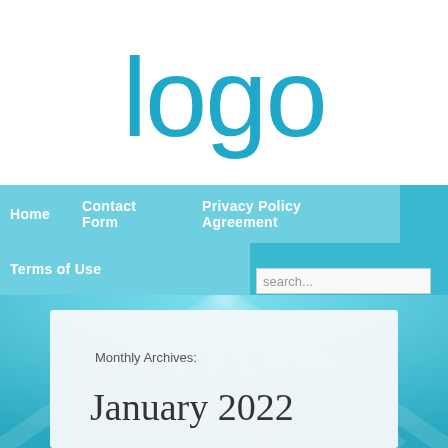[Figure (logo): Large teal/cyan 'logo' text in a light rounded sans-serif font on white background]
Home   Contact Form   Privacy Policy Agreement   Terms of Use
search...
Monthly Archives:
January 2022